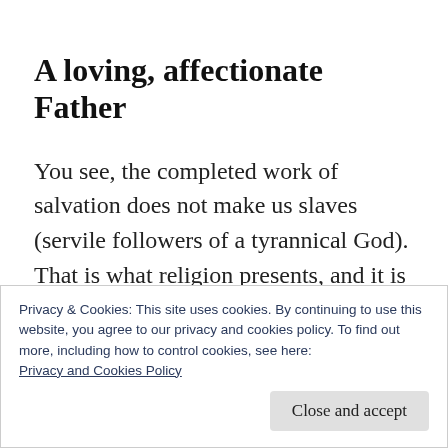A loving, affectionate Father
You see, the completed work of salvation does not make us slaves (servile followers of a tyrannical God). That is what religion presents, and it is the lie which leads astray so many people who would otherwise turn to God. No, this great salvation makes us sons (grateful children of a loving, affectionate Father). That
Privacy & Cookies: This site uses cookies. By continuing to use this website, you agree to our privacy and cookies policy. To find out more, including how to control cookies, see here: Privacy and Cookies Policy
Close and accept
relationship will bring us freedom.